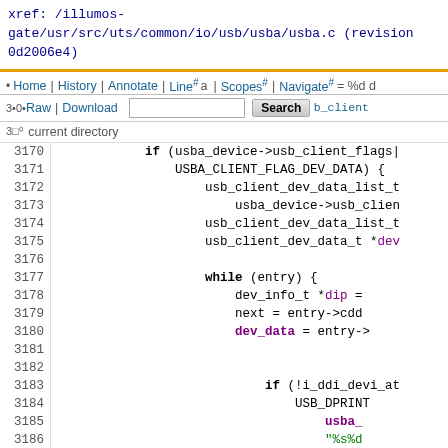xref: /illumos-gate/usr/src/uts/common/io/usb/usba/usba.c (revision 0d2006e4)
Home | History | Annotate | Line# | Scopes# | Navigate# | Raw | Download | Search | current directory
[Figure (screenshot): Source code viewer showing lines 3167-3191 of usba.c with syntax highlighting. Code shows a while loop iterating through USB client device data entries, with purple keywords (while, if, dev_data, leaks), blue variables, and green strings.]